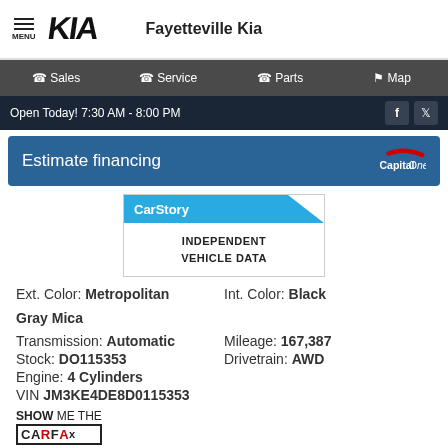MENU | KIA | Fayetteville Kia
Sales | Service | Parts | Map
Open Today! 7:30 AM - 8:00 PM
Estimate financing
[Figure (logo): CarStory - Independent Vehicle Data logo]
Ext. Color: Metropolitan Gray Mica   Int. Color: Black
Transmission: Automatic   Mileage: 167,387
Stock: DO115353   Drivetrain: AWD
Engine: 4 Cylinders
VIN JM3KE4DE8D0115353
[Figure (logo): SHOW ME THE CARFAX logo]